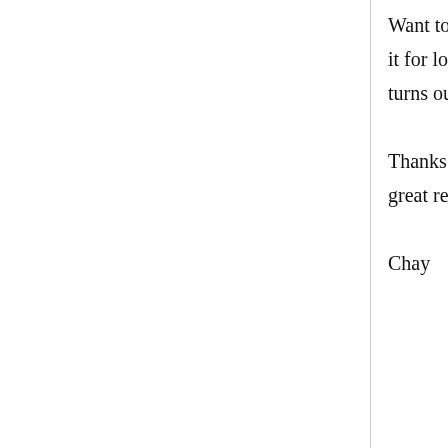Want to try marinading it for long to see how it turns out.

Thanks Makiko for this great recipe!

Chay
Miila.
24 March, 2011 - 19:47
permalink
Re: Chicken Karaage: Japanese
[Figure (other): Advertisement banner: Petco logo with checkmarks listing 'In-store shopping' and 'Curbside pickup', with a navigation/directions icon on the right]